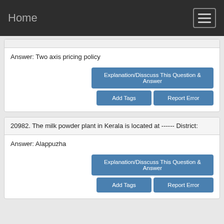Home
Answer: Two axis pricing policy
20982. The milk powder plant in Kerala is located at ------ District:
Answer: Alappuzha